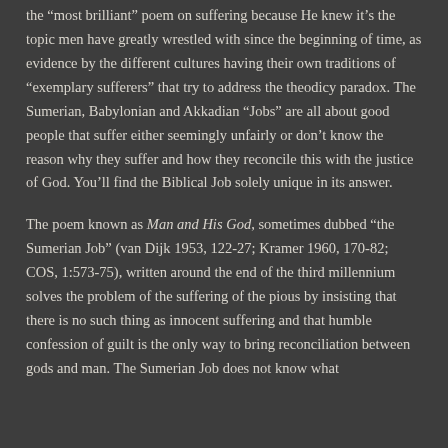the "most brilliant" poem on suffering because He knew it's the topic men have greatly wrestled with since the beginning of time, as evidence by the different cultures having their own traditions of "exemplary sufferers" that try to address the theodicy paradox. The Sumerian, Babylonian and Akkadian "Jobs" are all about good people that suffer either seemingly unfairly or don't know the reason why they suffer and how they reconcile this with the justice of God. You'll find the Biblical Job solely unique in its answer.
The poem known as Man and His God, sometimes dubbed "the Sumerian Job" (van Dijk 1953, 122-27; Kramer 1960, 170-82; COS, 1:573-75), written around the end of the third millennium solves the problem of the suffering of the pious by insisting that there is no such thing as innocent suffering and that humble confession of guilt is the only way to bring reconciliation between gods and man. The Sumerian Job does not know what